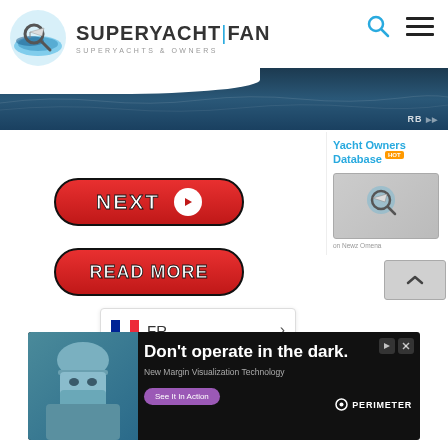[Figure (screenshot): Superyacht Fan website header with logo, navigation icons (search and hamburger menu), and ocean banner image with RB badge]
[Figure (screenshot): Navigation buttons: NEXT with arrow and READ MORE, plus Yacht Owners Database sidebar panel, FR language selector, and Perimeter medical advertisement banner]